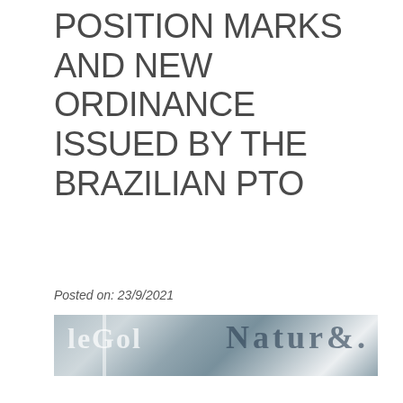POSITION MARKS AND NEW ORDINANCE ISSUED BY THE BRAZILIAN PTO
Posted on: 23/9/2021
[Figure (photo): A close-up banner image showing overlapping typographic letterforms in a dark blue-grey tone, resembling a decorative or legal document background.]